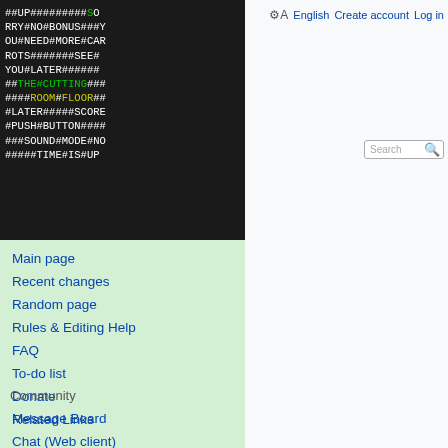[Figure (logo): The Cutting Room Floor wiki logo: monospace ASCII-art text on black background with white, green and yellow characters spelling out ##UP#########SORRY#NO#BONUS###YOU#NEED#MORE#CARROTS#######SEE#YOU#LATER######
###THE#CUTTING###
####ROOM#FLOOR##
#LATER#####SCORE
#PUSH#BUTTON####
###SOUND#MODE#NO
#####TIME#IS#UP]
Main page
Recent changes
Random page
Rules & Editing Help
FAQ
To-do list
Donate
Related Links
Community
Message Board
Chat (Web client)
Chat (IRC)
Discord
English  Create account  Log in
Page  Discussion  View source  View history  Search
If you appreciate the work done within the wiki, please consider supporting The Cutting Room Floor on Patreon. Thanks for all your support!
Back to the Future Part III (Genesis)
[Figure (screenshot): Back to the Future Part III (Genesis) title screen showing the BACK TO THE FUTURE logo in red-orange gradient letters on black background]